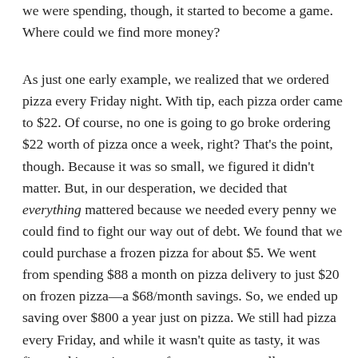we were spending, though, it started to become a game. Where could we find more money?
As just one early example, we realized that we ordered pizza every Friday night. With tip, each pizza order came to $22. Of course, no one is going to go broke ordering $22 worth of pizza once a week, right? That's the point, though. Because it was so small, we figured it didn't matter. But, in our desperation, we decided that everything mattered because we needed every penny we could find to fight our way out of debt. We found that we could purchase a frozen pizza for about $5. We went from spending $88 a month on pizza delivery to just $20 on frozen pizza—a $68/month savings. So, we ended up saving over $800 a year just on pizza. We still had pizza every Friday, and while it wasn't quite as tasty, it was fine, and it was just one of many, many small adjustments we made in the first few months that added up.
We also cut back on our grocery spending...